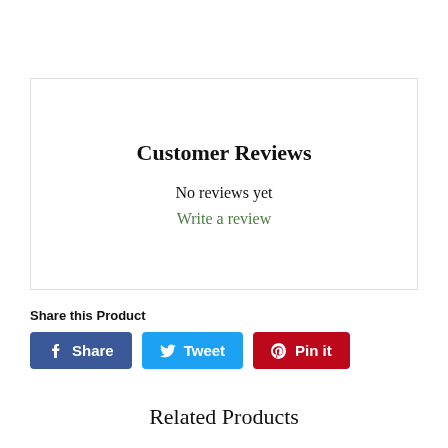Customer Reviews
No reviews yet
Write a review
Share this Product
[Figure (other): Social share buttons: Facebook Share (blue), Twitter Tweet (light blue), Pinterest Pin it (red)]
Related Products